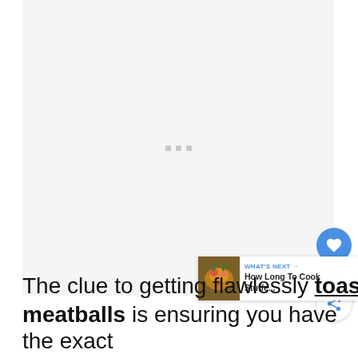[Figure (other): Large gray placeholder/loading area with three small gray square dots in the center, representing an image or ad loading state.]
[Figure (other): Blue circular heart/like button showing a white heart icon, with count '2' below it, and a white circular share button with a blue share icon.]
[Figure (other): 'WHAT'S NEXT →' banner with a food thumbnail image on the left and text 'How Long To Cook Stuffe...' on the right.]
The clue to getting flawlessly toasted meatballs is ensuring you have the exact